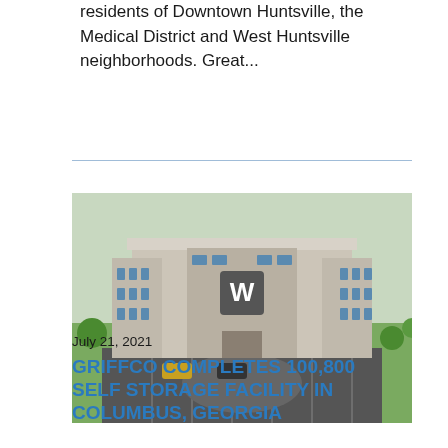residents of Downtown Huntsville, the Medical District and West Huntsville neighborhoods. Great...
[Figure (photo): Aerial view of a modern multi-story self storage building with large windows and a W logo on the facade, surrounded by parking lot and green landscaping.]
July 21, 2021
GRIFFCO COMPLETES 100,800 SELF STORAGE FACILITY IN COLUMBUS, GEORGIA